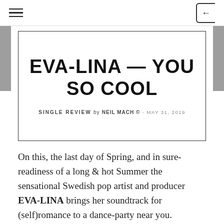≡  [←
EVA-LINA — YOU SO COOL
SINGLE REVIEW by NEIL MACH © - MAY 31, 2019
On this, the last day of Spring, and in sure-readiness of a long & hot Summer the sensational Swedish pop artist and producer EVA-LINA brings her soundtrack for (self)romance to a dance-party near you.